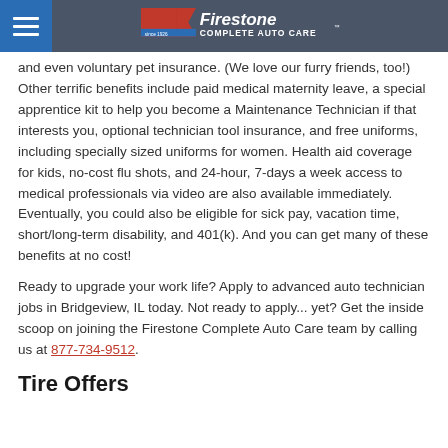Firestone Complete Auto Care
and even voluntary pet insurance. (We love our furry friends, too!) Other terrific benefits include paid medical maternity leave, a special apprentice kit to help you become a Maintenance Technician if that interests you, optional technician tool insurance, and free uniforms, including specially sized uniforms for women. Health aid coverage for kids, no-cost flu shots, and 24-hour, 7-days a week access to medical professionals via video are also available immediately. Eventually, you could also be eligible for sick pay, vacation time, short/long-term disability, and 401(k). And you can get many of these benefits at no cost!
Ready to upgrade your work life? Apply to advanced auto technician jobs in Bridgeview, IL today. Not ready to apply... yet? Get the inside scoop on joining the Firestone Complete Auto Care team by calling us at 877-734-9512.
Tire Offers